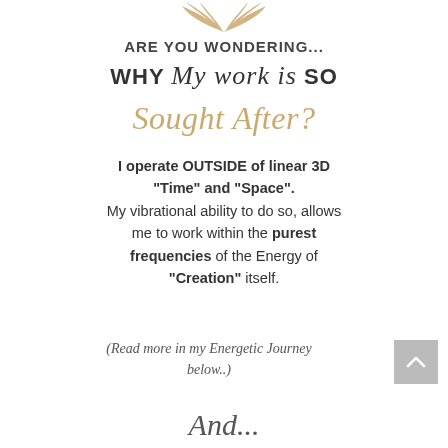[Figure (logo): Decorative gold wing/leaf logo at top center]
ARE YOU WONDERING...
WHY My work is SO Sought After?
I operate OUTSIDE of linear 3D "Time" and "Space". My vibrational ability to do so, allows me to work within the purest frequencies of the Energy of "Creation" itself.
(Read more in my Energetic Journey below..)
And...